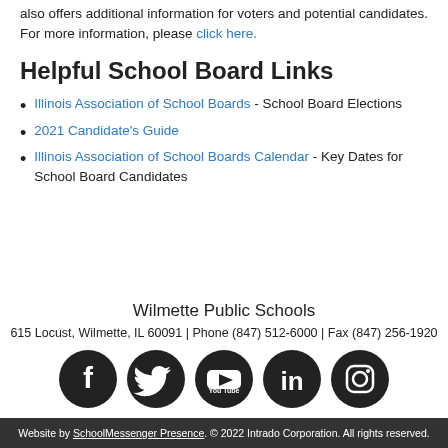also offers additional information for voters and potential candidates. For more information, please click here.
Helpful School Board Links
Illinois Association of School Boards - School Board Elections
2021 Candidate's Guide
Illinois Association of School Boards Calendar - Key Dates for School Board Candidates
Wilmette Public Schools
615 Locust, Wilmette, IL 60091 | Phone (847) 512-6000 | Fax (847) 256-1920
Website by SchoolMessenger Presence. © 2022 Intrado Corporation. All rights reserved.